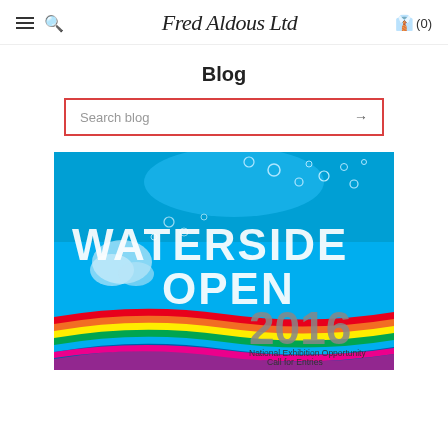Fred Aldous Ltd — Blog navigation header with hamburger menu, search icon, logo, and basket (0)
Blog
Search blog →
[Figure (illustration): Waterside Open 2016 exhibition poster. Blue water background with bubbles at top, large white dotted text reading WATERSIDE OPEN, colourful rainbow wave stripes at bottom, large grey 2016 text, and caption: National Exhibition Opportunity / Call for Entries]